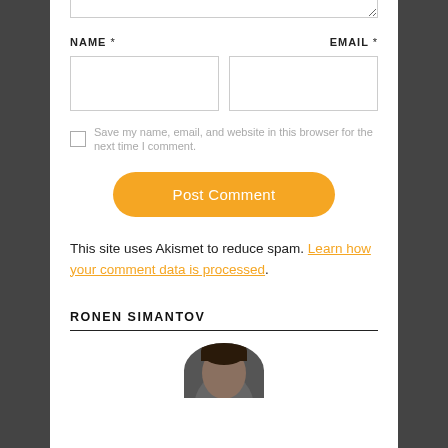NAME * EMAIL *
Save my name, email, and website in this browser for the next time I comment.
Post Comment
This site uses Akismet to reduce spam. Learn how your comment data is processed.
RONEN SIMANTOV
[Figure (photo): Partial photo of author Ronen Simantov, showing top of head]